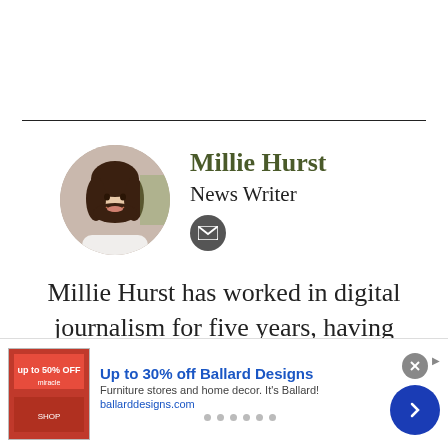[Figure (photo): Circular profile photo of Millie Hurst, a young woman with dark hair, smiling, wearing a white top]
Millie Hurst
News Writer
Millie Hurst has worked in digital journalism for five years, having previously worked as a Senior SEO
[Figure (infographic): Advertisement banner: Up to 30% off Ballard Designs. Furniture stores and home decor. It's Ballard! ballarddesigns.com]